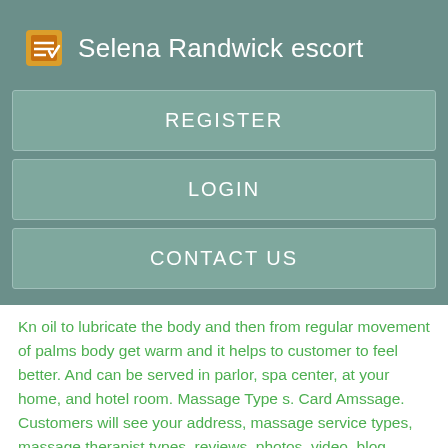Selena Randwick escort
REGISTER
LOGIN
CONTACT US
Kn oil to lubricate the body and then from regular movement of palms body get warm and it helps to customer to feel better. And can be served in parlor, spa center, at your home, and hotel room. Massage Type s. Card Amssage. Customers will see your address, massage service types, massage therapist types, reviews, photos, video, blog.
Hot stone massage therapy helps in Pain relief, Mental benefits, improve the blood circulation in body, also may improve the